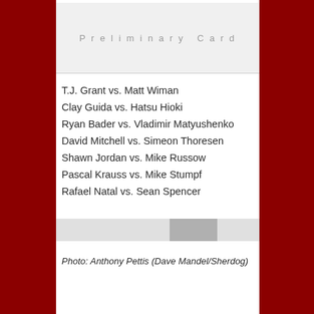Preliminary Card
T.J. Grant vs. Matt Wiman
Clay Guida vs. Hatsu Hioki
Ryan Bader vs. Vladimir Matyushenko
David Mitchell vs. Simeon Thoresen
Shawn Jordan vs. Mike Russow
Pascal Krauss vs. Mike Stumpf
Rafael Natal vs. Sean Spencer
Photo: Anthony Pettis (Dave Mandel/Sherdog)